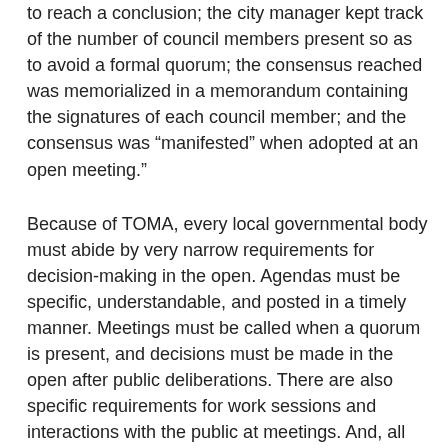to reach a conclusion; the city manager kept track of the number of council members present so as to avoid a formal quorum; the consensus reached was memorialized in a memorandum containing the signatures of each council member; and the consensus was “manifested” when adopted at an open meeting.”
Because of TOMA, every local governmental body must abide by very narrow requirements for decision-making in the open. Agendas must be specific, understandable, and posted in a timely manner. Meetings must be called when a quorum is present, and decisions must be made in the open after public deliberations. There are also specific requirements for work sessions and interactions with the public at meetings. And, all citizens must be presented with the same information.
There should be no insider information on any level. There cannot be official or unofficial policies made for some, but not others. Our elected public officials need to be held accountable by us.